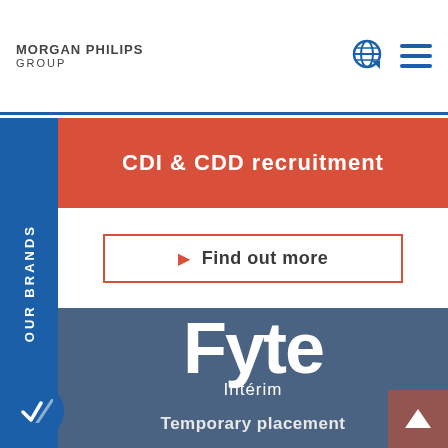[Figure (logo): Morgan Philips Group logo text in header]
[Figure (illustration): Globe icon and hamburger menu icon in top right header]
OUR BRANDS
CDI & CDD recruitment
Find out more
[Figure (logo): Fyte Intérim logo — large white bold text on steel blue background]
Temporary placement